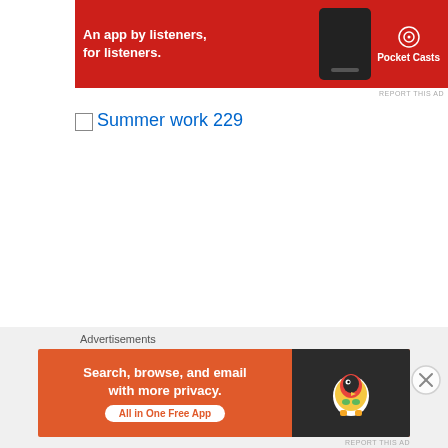[Figure (screenshot): Pocket Casts advertisement banner: red background, text 'An app by listeners, for listeners.' with phone image and Pocket Casts logo]
REPORT THIS AD
[Figure (other): Broken image placeholder with alt text 'Summer work 229']
Bumble bees are indeed wonderful little creatures! They are tremendously important pollinators, for they are very
Advertisements
[Figure (screenshot): DuckDuckGo advertisement: orange background, text 'Search, browse, and email with more privacy. All in One Free App' with DuckDuckGo duck logo on dark right panel]
REPORT THIS AD